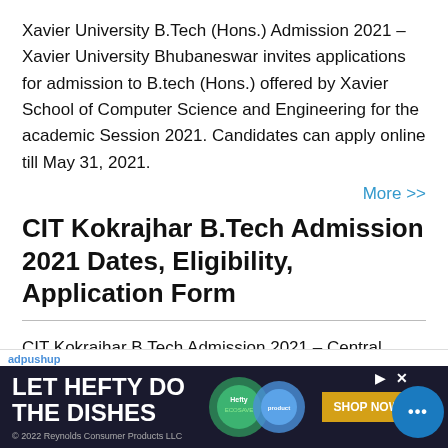Xavier University B.Tech (Hons.) Admission 2021 – Xavier University Bhubaneswar invites applications for admission to B.tech (Hons.) offered by Xavier School of Computer Science and Engineering for the academic Session 2021. Candidates can apply online till May 31, 2021.
More >>
CIT Kokrajhar B.Tech Admission 2021 Dates, Eligibility, Application Form
CIT Kokrajhar B.Tech Admission 2021 – Central Institute of Technology (CIT) Kokrajhar invites applications for admission to four year B.Tech Program of study as Direct Entry and B.Tech Lateral Entry (admission into the third semester of B.Tech Program) in different branches of engineering for the academic Session 2021 through the CIT B... En... En...
[Figure (infographic): adpushup advertisement banner: LET HEFTY DO THE DISHES with product images and SHOP NOW button]